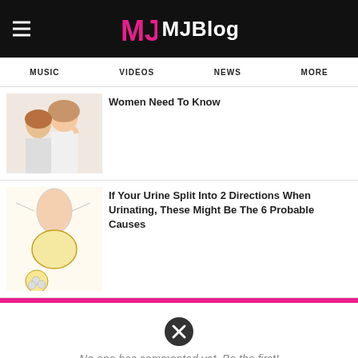MJBlog
MUSIC   VIDEOS   NEWS   MORE
[Figure (photo): Couple - woman and man close together]
Women Need To Know
[Figure (illustration): Medical illustration of urinary system and bladder]
If Your Urine Split Into 2 Directions When Urinating, These Might Be The 6 Probable Causes
No one has commented yet. Be the first!